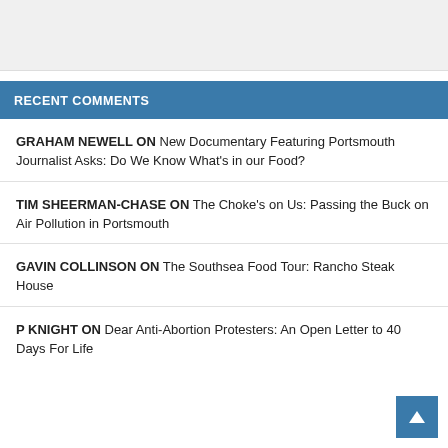RECENT COMMENTS
GRAHAM NEWELL ON New Documentary Featuring Portsmouth Journalist Asks: Do We Know What's in our Food?
TIM SHEERMAN-CHASE ON The Choke's on Us: Passing the Buck on Air Pollution in Portsmouth
GAVIN COLLINSON ON The Southsea Food Tour: Rancho Steak House
P KNIGHT ON Dear Anti-Abortion Protesters: An Open Letter to 40 Days For Life